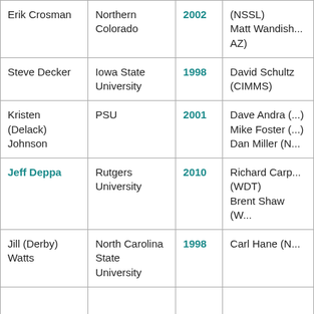| Name | Institution | Year | Advisor(s) |
| --- | --- | --- | --- |
| Erik Crosman | Northern Colorado | 2002 | (NSSL)
Matt Wandish... AZ) |
| Steve Decker | Iowa State University | 1998 | David Schultz (CIMMS) |
| Kristen (Delack) Johnson | PSU | 2001 | Dave Andra (...)
Mike Foster (...)
Dan Miller (N...) |
| Jeff Deppa | Rutgers University | 2010 | Richard Carp... (WDT)
Brent Shaw (W...) |
| Jill (Derby) Watts | North Carolina State University | 1998 | Carl Hane (N...) |
|  |  |  |  |